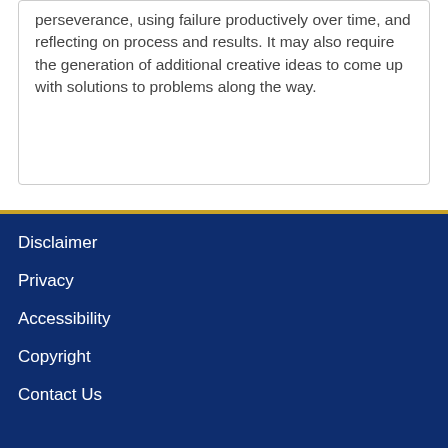perseverance, using failure productively over time, and reflecting on process and results. It may also require the generation of additional creative ideas to come up with solutions to problems along the way.
Disclaimer
Privacy
Accessibility
Copyright
Contact Us